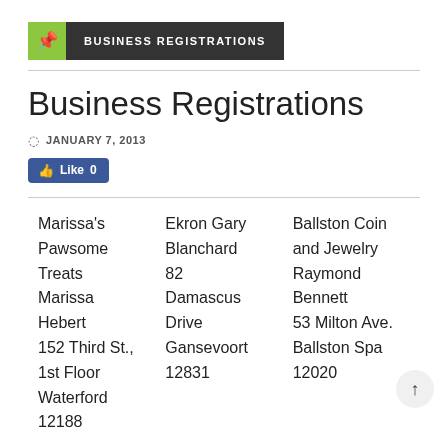BUSINESS REGISTRATIONS
Business Registrations
JANUARY 7, 2013
Like 0
Marissa's Pawsome Treats
Marissa Hebert
152 Third St., 1st Floor
Waterford
12188
Ekron Gary Blanchard
82 Damascus Drive
Gansevoort
12831
Ballston Coin and Jewelry
Raymond Bennett
53 Milton Ave.
Ballston Spa
12020